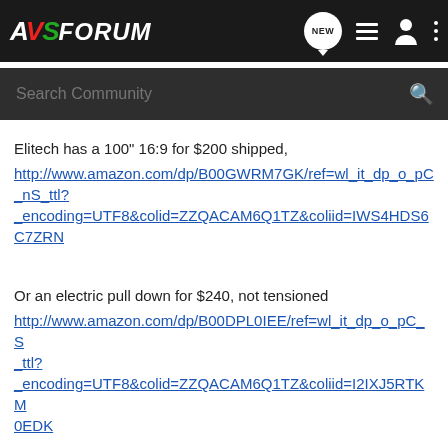[Figure (screenshot): AVS Forum navigation bar with logo, NEW chat bubble icon, list icon, person icon, and three-dots menu icon on dark background]
[Figure (screenshot): Search Community search bar on dark background]
Elitech has a 100" 16:9 for $200 shipped,
http://www.amazon.com/dp/B00GWRM7GK/ref=wl_it_dp_o_pC_nS_ttl?_encoding=UTF8&colid=ZZQACAM6Q1TZ&coliid=IWS4HDS6C7ZRN
Or an electric pull down for $240, not tensioned
http://www.amazon.com/dp/B00DPL0IEE/ref=wl_it_dp_o_pC_S_ttl?_encoding=UTF8&colid=ZZQACAM6Q1TZ&coliid=I2IXJ5RTKM0EDK